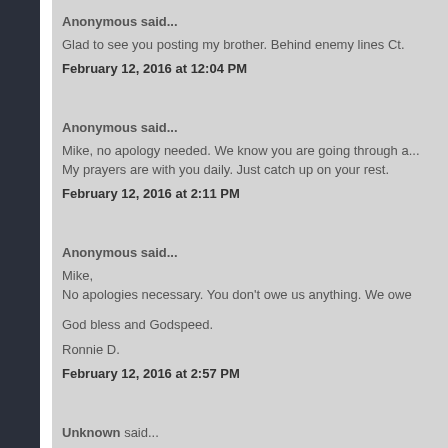Anonymous said...
Glad to see you posting my brother. Behind enemy lines Ct.
February 12, 2016 at 12:04 PM
Anonymous said...
Mike, no apology needed. We know you are going through a... My prayers are with you daily. Just catch up on your rest.
February 12, 2016 at 2:11 PM
Anonymous said...
Mike,
No apologies necessary. You don't owe us anything. We owe
God bless and Godspeed.
Ronnie D.
February 12, 2016 at 2:57 PM
Unknown said...